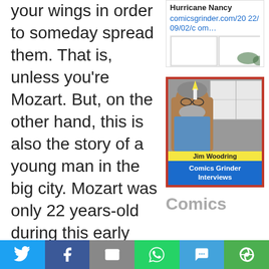your wings in order to someday spread them. That is, unless you're Mozart. But, on the other hand, this is also the story of a young man in the big city. Mozart was only 22 years-old during this early visit to Paris. And Mozart was driven and had no
[Figure (screenshot): Sidebar card with Hurricane Nancy title, comicsgrinder.com link, and comic strip image at bottom]
[Figure (photo): Jim Woodring Comics Grinder Interviews book/card with red border, photo of Jim Woodring (bearded man with glasses in blue shirt), name bar, and blue Comics Grinder Interviews label]
Comics
Twitter | Facebook | Email | WhatsApp | SMS | More